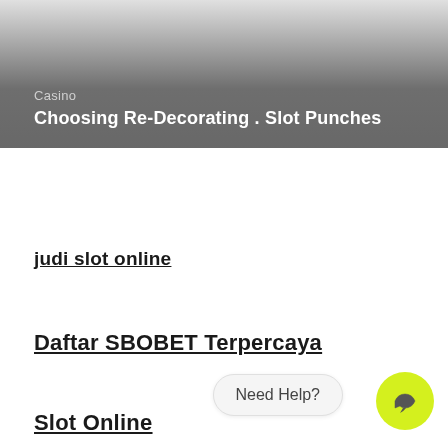[Figure (photo): Banner image with gradient overlay showing dark gray background]
Casino
Choosing Re-Decorating . Slot Punches
judi slot online
Daftar SBOBET Terpercaya
Slot Online
Need Help?